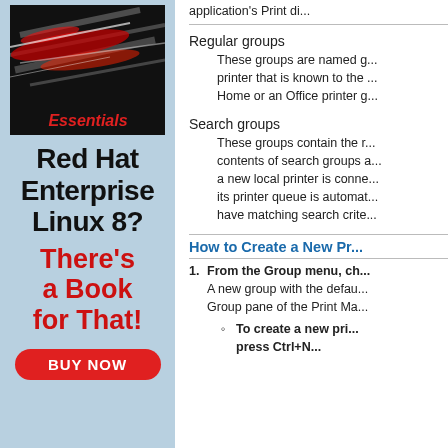[Figure (illustration): Book advertisement for Red Hat Enterprise Linux 8 Essentials with stylized cover showing abstract red and silver metallic streaks on black background]
Red Hat Enterprise Linux 8?
There's a Book for That!
BUY NOW
application's Print di...
Regular groups
These groups are named g... printer that is known to the ... Home or an Office printer g...
Search groups
These groups contain the r... contents of search groups a... a new local printer is conne... its printer queue is automat... have matching search crite...
How to Create a New Pr...
From the Group menu, ch...
A new group with the defau... Group pane of the Print Ma...
To create a new pri... press Ctrl+N...